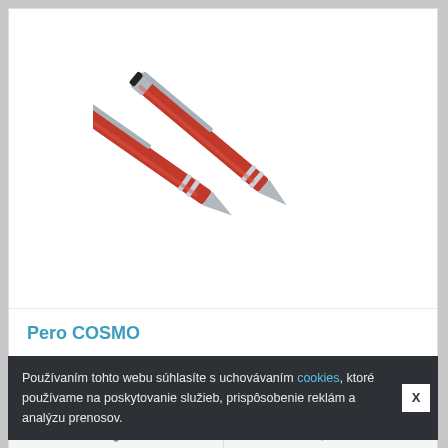[Figure (photo): Two red aluminium ballpoint pens (Pero COSMO) with silver chrome tips and clips, arranged diagonally on white background]
Pero COSMO
Metal ballpen Ø 10 mm Material: aluminiumSize: 135 mm x 10 mmGross unit weight: ..
Používaním tohto webu súhlasíte s uchovávaním cookies, ktoré používame na poskytovanie služieb, prispôsobenie reklám a analýzu prenosov.